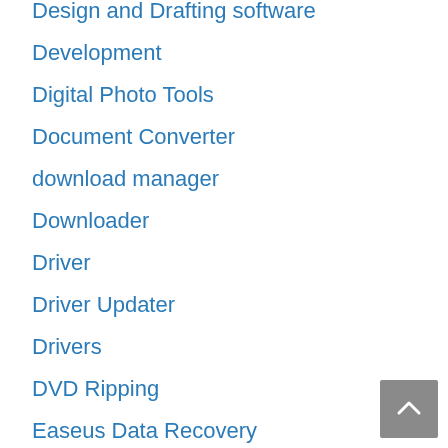Design and Drafting software
Development
Digital Photo Tools
Document Converter
download manager
Downloader
Driver
Driver Updater
Drivers
DVD Ripping
Easeus Data Recovery
Editing Tools
Educational Software
EndNote